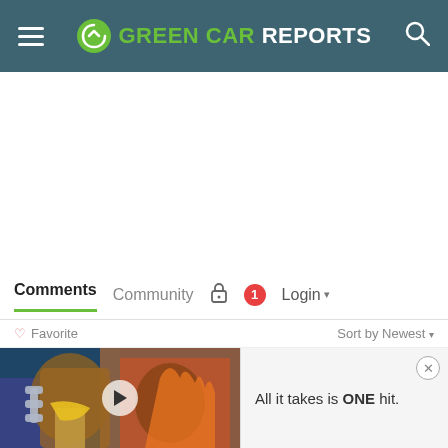GREEN CAR REPORTS
Comments  Community  Login
Favorite  Sort by Newest
[Figure (screenshot): Video thumbnail showing animated game characters with a play button overlay]
All it takes is ONE hit.